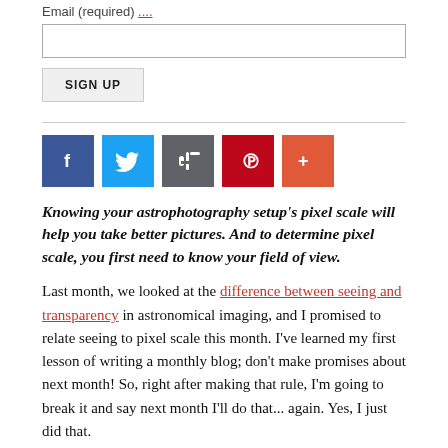Email (required) ...
SIGN UP
[Figure (other): Social sharing icons: Facebook (blue), Twitter (light blue), Google+ (dark grey), Pinterest (red), More (orange-red)]
Knowing your astrophotography setup's pixel scale will help you take better pictures. And to determine pixel scale, you first need to know your field of view.
Last month, we looked at the difference between seeing and transparency in astronomical imaging, and I promised to relate seeing to pixel scale this month. I've learned my first lesson of writing a monthly blog; don't make promises about next month! So, right after making that rule, I'm going to break it and say next month I'll do that... again. Yes, I just did that.